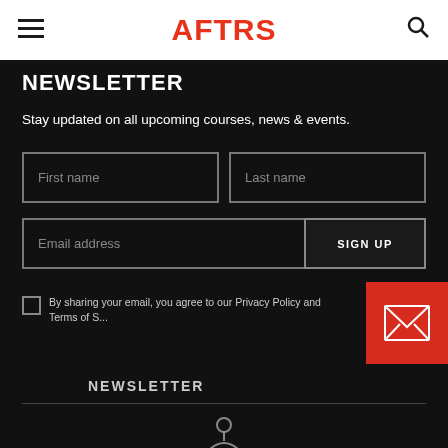AFTRS
NEWSLETTER
Stay updated on all upcoming courses, news & events.
First name | Last name | Email address | SIGN UP
By sharing your email, you agree to our Privacy Policy and Terms of S...
[Figure (illustration): Red envelope icon on dark red square background]
NEWSLETTER
[Figure (illustration): Small icon at bottom of page]